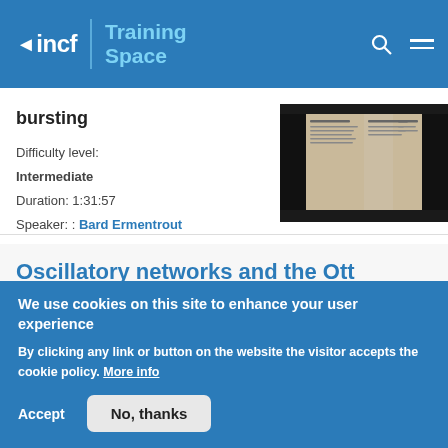incf Training Space
bursting
Difficulty level: Intermediate
Duration: 1:31:57
Speaker: : Bard Ermentrout
[Figure (photo): Thumbnail image of a document page with text columns on beige/tan background]
Oscillatory networks and the Ott Antonsen theory I
We use cookies on this site to enhance your user experience
By clicking any link or button on the website the visitor accepts the cookie policy. More info
Accept
No, thanks